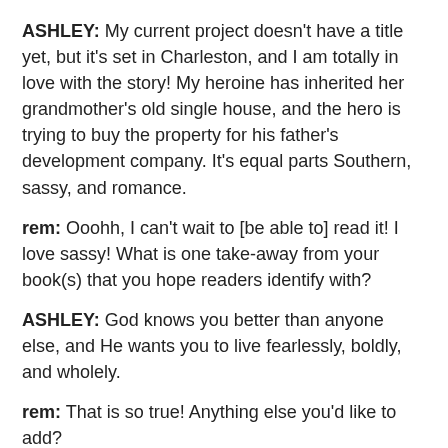ASHLEY: My current project doesn't have a title yet, but it's set in Charleston, and I am totally in love with the story! My heroine has inherited her grandmother's old single house, and the hero is trying to buy the property for his father's development company. It's equal parts Southern, sassy, and romance.
rem: Ooohh, I can't wait to [be able to] read it! I love sassy! What is one take-away from your book(s) that you hope readers identify with?
ASHLEY: God knows you better than anyone else, and He wants you to live fearlessly, boldly, and wholely.
rem: That is so true! Anything else you'd like to add?
ASHLEY: Thank you so much for having me on your blog today!